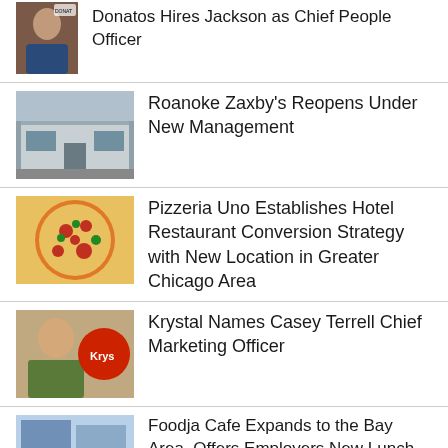Donatos Hires Jackson as Chief People Officer
Roanoke Zaxby's Reopens Under New Management
Pizzeria Uno Establishes Hotel Restaurant Conversion Strategy with New Location in Greater Chicago Area
Krystal Names Casey Terrell Chief Marketing Officer
Foodja Cafe Expands to the Bay Area, Offers Employers New Lunch Benefit Through Partnerships with Local Restaurants
The Dolly Llama Announces Entry Into Nevada With Opening This Fall